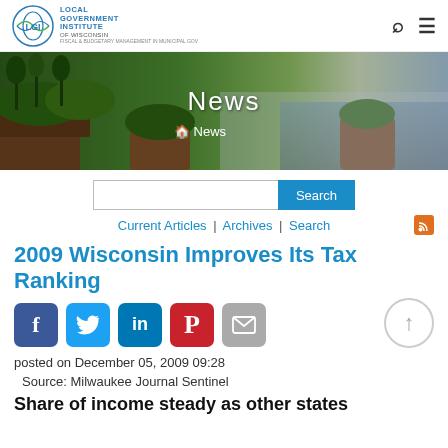Local Government Institute of Wisconsin
[Figure (photo): Hero banner showing Wisconsin forested rocky shoreline landscape with text 'News' and breadcrumb '🏠 News']
Current Articles | Archives | Search
2009 Wisconsin Improves Its Tax Ranking
posted on December 05, 2009 09:28
Source: Milwaukee Journal Sentinel
Share of income steady as other states